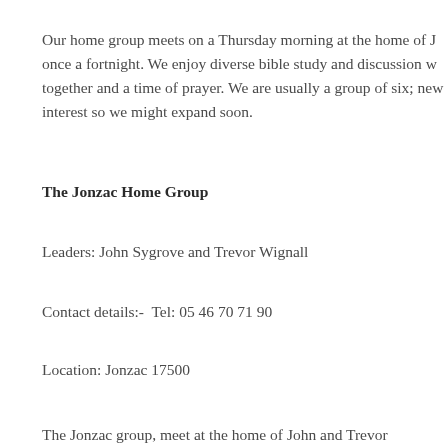Our home group meets on a Thursday morning at the home of J… once a fortnight. We enjoy diverse bible study and discussion w… together and a time of prayer. We are usually a group of six; new… interest so we might expand soon.
The Jonzac Home Group
Leaders: John Sygrove and Trevor Wignall
Contact details:-  Tel: 05 46 70 71 90
Location: Jonzac 17500
The Jonzac group, meet at the home of John and Trevor…